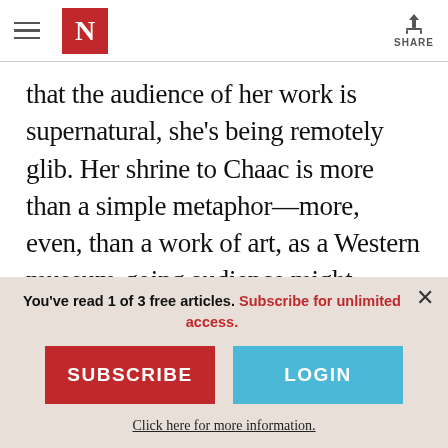N [The Nation logo] | SHARE
that the audience of her work is supernatural, she's being remotely glib. Her shrine to Chaac is more than a simple metaphor—more, even, than a work of art, as a Western museum-going audience might define the term. Though Porras-Kim's work is dressed in the visual language of contemporary art, it points to the soulless and solipsistic worship of
You've read 1 of 3 free articles. Subscribe for unlimited access.
SUBSCRIBE
LOGIN
Click here for more information.